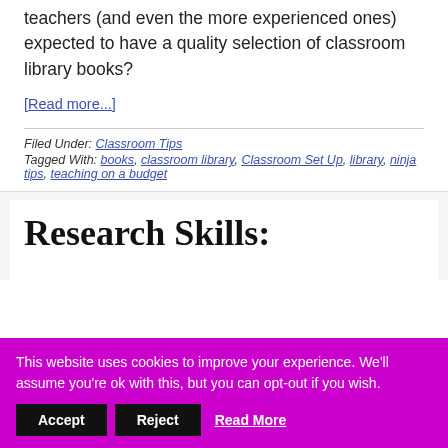teachers (and even the more experienced ones) expected to have a quality selection of classroom library books?
[Read more...]
Filed Under: Classroom Tips
Tagged With: books, classroom library, Classroom Set Up, library, ninja tips, teaching on a budget
Research Skills:
This website uses cookies to improve your experience. We'll assume you're ok with this, but you can opt-out if you wish.